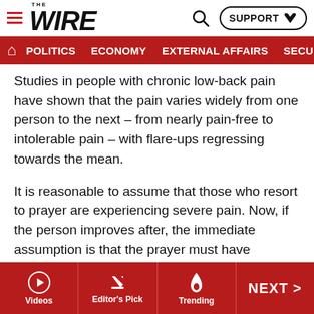THE WIRE — SUPPORT | POLITICS | ECONOMY | EXTERNAL AFFAIRS | SECU…
Studies in people with chronic low-back pain have shown that the pain varies widely from one person to the next – from nearly pain-free to intolerable pain – with flare-ups regressing towards the mean.
It is reasonable to assume that those who resort to prayer are experiencing severe pain. Now, if the person improves after, the immediate assumption is that the prayer must have worked. However, regression to the mean suggests that the pain would have reduced if the person had taken medicines or even if nothing had been done.
This brings us to another statistical concept. We often come to know of religious rituals being held in offices after
Videos | Editor's Pick | Trending | NEXT >